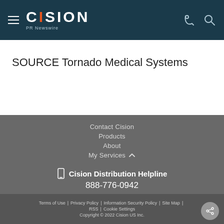[Figure (logo): Cision PR Newswire logo in white on dark teal header with hamburger menu, phone icon, and search icon]
SOURCE Tornado Medical Systems
Contact Cision
Products
About
My Services
Cision Distribution Helpline 888-776-0942
Terms of Use | Privacy Policy | Information Security Policy | Site Map | RSS | Cookie Settings Copyright © 2022 Cision US Inc.